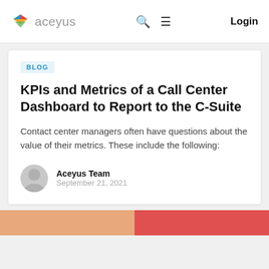aceyus | Login
BLOG
KPIs and Metrics of a Call Center Dashboard to Report to the C-Suite
Contact center managers often have questions about the value of their metrics. These include the following:
Aceyus Team
September 21, 2021